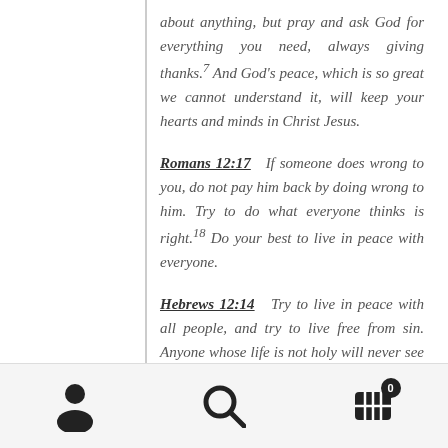about anything, but pray and ask God for everything you need, always giving thanks.7 And God's peace, which is so great we cannot understand it, will keep your hearts and minds in Christ Jesus.
Romans 12:17  If someone does wrong to you, do not pay him back by doing wrong to him. Try to do what everyone thinks is right.18 Do your best to live in peace with everyone.
Hebrews 12:14  Try to live in peace with all people, and try to live free from sin. Anyone whose life is not holy will never see the
[Figure (infographic): Mobile app bottom navigation bar with three icons: user/person icon, search/magnifying glass icon, and shopping cart icon with badge showing 0]